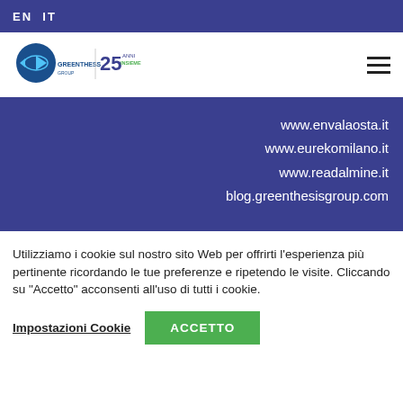EN  IT
[Figure (logo): Greenthesis Group logo with '25 Insieme' anniversary badge]
www.envalaosta.it
www.eurekomilano.it
www.readalmine.it
blog.greenthesisgroup.com
Utilizziamo i cookie sul nostro sito Web per offrirti l'esperienza più pertinente ricordando le tue preferenze e ripetendo le visite. Cliccando su "Accetto" acconsenti all'uso di tutti i cookie.
Impostazioni Cookie
ACCETTO